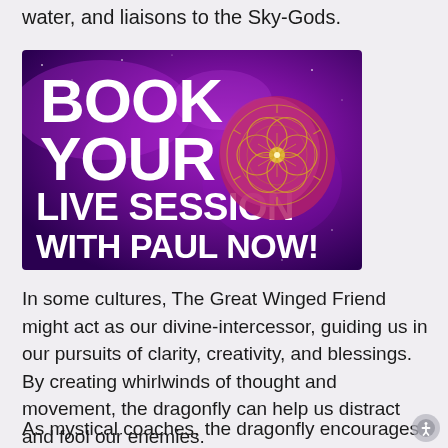water, and liaisons to the Sky-Gods.
[Figure (infographic): Purple galaxy-themed banner with bold white text reading 'BOOK YOUR LIVE SESSION WITH PAUL NOW!' and a gold geometric mandala/flower of life symbol on the right side.]
In some cultures, The Great Winged Friend might act as our divine-intercessor, guiding us in our pursuits of clarity, creativity, and blessings. By creating whirlwinds of thought and movement, the dragonfly can help us distract and fool our enemies.
As mystical coaches, the dragonfly encourages us to